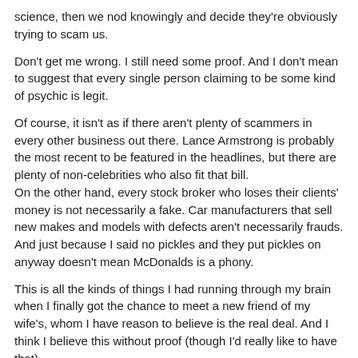science, then we nod knowingly and decide they're obviously trying to scam us.
Don't get me wrong.  I still need some proof.  And I don't mean to suggest that every single person claiming to be some kind of psychic is legit.
Of course, it isn't as if there aren't plenty of scammers in every other business out there.  Lance Armstrong is probably the most recent to be featured in the headlines, but there are plenty of non-celebrities who also fit that bill.
On the other hand, every stock broker who loses their clients' money is not necessarily a fake.  Car manufacturers that sell new makes and models with defects aren't necessarily frauds.  And just because I said no pickles and they put pickles on anyway doesn't mean McDonalds is a phony.
This is all the kinds of things I had running through my brain when I finally got the chance to meet a new friend of my wife's, whom I have reason to believe is the real deal.  And I think I believe this without proof (though I'd really like to have that).